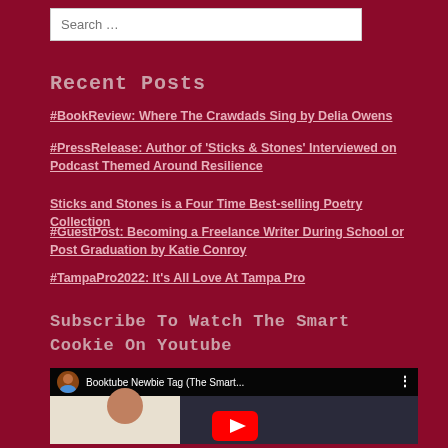Search …
Recent Posts
#BookReview: Where The Crawdads Sing by Delia Owens
#PressRelease: Author of 'Sticks & Stones' Interviewed on Podcast Themed Around Resilience
Sticks and Stones is a Four Time Best-selling Poetry Collection
#GuestPost: Becoming a Freelance Writer During School or Post Graduation by Katie Conroy
#TampaPro2022: It's All Love At Tampa Pro
Subscribe To Watch The Smart Cookie On Youtube
[Figure (screenshot): YouTube video thumbnail showing 'Booktube Newbie Tag (The Smart...' with a woman wearing a black hat, YouTube play button overlay, and channel avatar circle.]